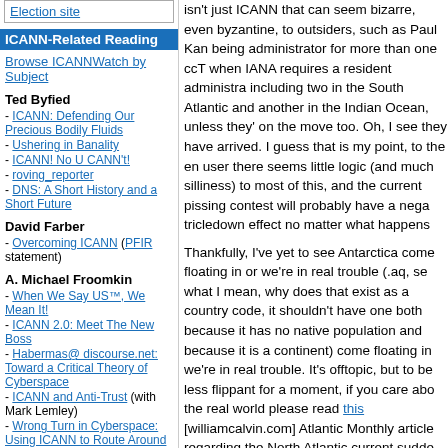Election site
ICANN-Related Reading
Browse ICANNWatch by Subject
Ted Byfied
- ICANN: Defending Our Precious Bodily Fluids
- Ushering in Banality
- ICANN! No U CANN't!
- roving_reporter
- DNS: A Short History and a Short Future
David Farber
- Overcoming ICANN (PFIR statement)
A. Michael Froomkin
- When We Say US™, We Mean It!
- ICANN 2.0: Meet The New Boss
- Habermas@ discourse.net: Toward a Critical Theory of Cyberspace
- ICANN and Anti-Trust (with Mark Lemley)
- Wrong Turn in Cyberspace: Using ICANN to Route Around the APA & the Constitution (html)
- Form and Substance in Cyberspace
- ICANN's "Uniform Dispute Resolution Policy"-- Causes and (Partial) Cures
isn't just ICANN that can seem bizarre, even byzantine, to outsiders, such as Paul Kan being administrator for more than one ccT when IANA requires a resident administra including two in the South Atlantic and another in the Indian Ocean, unless they' on the move too. Oh, I see they have arrived. I guess that is my point, to the en user there seems little logic (and much silliness) to most of this, and the current pissing contest will probably have a nega tricledown effect no matter what happens
Thankfully, I've yet to see Antarctica come floating in or we're in real trouble (.aq, se what I mean, why does that exist as a country code, it shouldn't have one both because it has no native population and because it is a continent) come floating in we're in real trouble. It's offtopic, but to be less flippant for a moment, if you care abo the real world please read this [williamcalvin.com] Atlantic Monthly article regarding the North Atlantic current sudde shutting down due to global warming. It ha done so before and the results would (wil given our current course, perhaps within t decade) be catastrophic. An extended